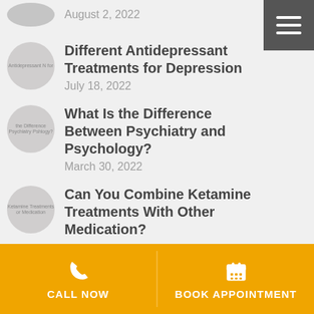[Figure (photo): Partially visible circular thumbnail image at top]
August 2, 2022
Different Antidepressant Treatments for Depression
July 18, 2022
What Is the Difference Between Psychiatry and Psychology?
March 30, 2022
Can You Combine Ketamine Treatments With Other Medication?
CALL NOW | BOOK APPOINTMENT